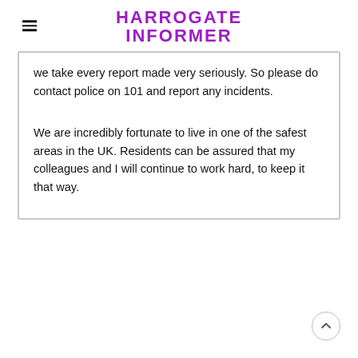HARROGATE INFORMER
we take every report made very seriously. So please do contact police on 101 and report any incidents.
We are incredibly fortunate to live in one of the safest areas in the UK. Residents can be assured that my colleagues and I will continue to work hard, to keep it that way.